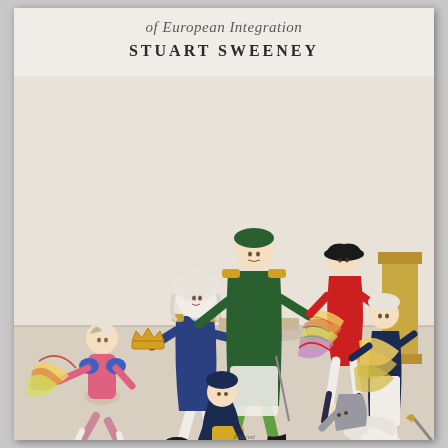of European Integration
STUART SWEENEY
[Figure (illustration): A period caricature/illustration depicting several figures in early 19th century military and court dress engaged in various animated poses. Central figures include men in military uniforms with epaulettes, one holding a crown, surrounded by others carrying colourful documents or maps. A harlequin figure in pink and blue runs on the left. Other figures struggle with papers in the background and foreground.]